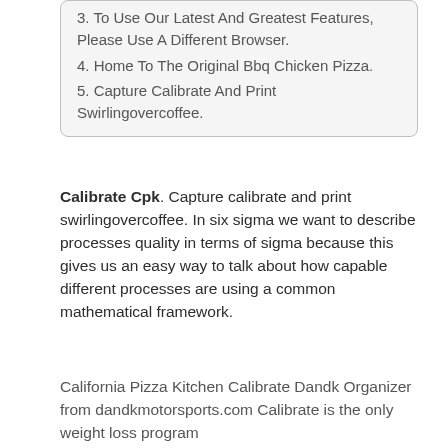3. To Use Our Latest And Greatest Features, Please Use A Different Browser.
4. Home To The Original Bbq Chicken Pizza.
5. Capture Calibrate And Print Swirlingovercoffee.
Calibrate Cpk. Capture calibrate and print swirlingovercoffee. In six sigma we want to describe processes quality in terms of sigma because this gives us an easy way to talk about how capable different processes are using a common mathematical framework.
California Pizza Kitchen Calibrate Dandk Organizer from dandkmotorsports.com Calibrate is the only weight loss program